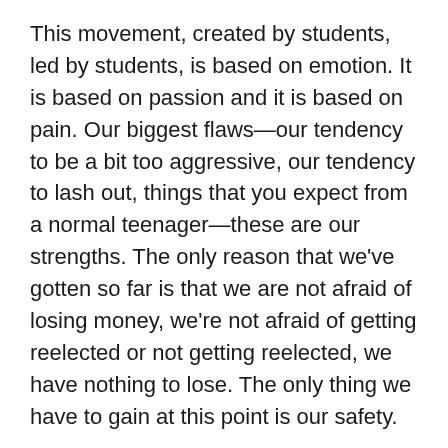This movement, created by students, led by students, is based on emotion. It is based on passion and it is based on pain. Our biggest flaws—our tendency to be a bit too aggressive, our tendency to lash out, things that you expect from a normal teenager—these are our strengths. The only reason that we've gotten so far is that we are not afraid of losing money, we're not afraid of getting reelected or not getting reelected, we have nothing to lose. The only thing we have to gain at this point is our safety.
Unafraid, Delaney screamed out passionately. Undeterred, she stood strong, despite her gut wrenching pain. Alone, together, she and her peers stepped up to the podium singing songs of hope and healing, leading chants of generational change. Never again! Vote them out! End gun violence! Register, Educate, Vote!